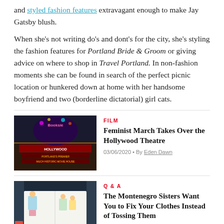and styled fashion features extravagant enough to make Jay Gatsby blush.
When she's not writing do's and dont's for the city, she's styling the fashion features for Portland Bride & Groom or giving advice on where to shop in Travel Portland. In non-fashion moments she can be found in search of the perfect picnic location or hunkered down at home with her handsome boyfriend and two (borderline dictatorial) girl cats.
[Figure (photo): Hollywood Theatre sign at night with illuminated marquee showing Booksie]
FILM
Feminist March Takes Over the Hollywood Theatre
03/06/2020 • By Eden Dawn
[Figure (photo): Open book or notebook with illustrated pages showing fashion figures]
Q & A
The Montenegro Sisters Want You to Fix Your Clothes Instead of Tossing Them
03/04/2020 • By Eden Dawn